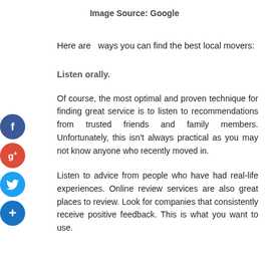Image Source: Google
Here are  ways you can find the best local movers:
Listen orally.
Of course, the most optimal and proven technique for finding great service is to listen to recommendations from trusted friends and family members. Unfortunately, this isn't always practical as you may not know anyone who recently moved in.
Listen to advice from people who have had real-life experiences. Online review services are also great places to review. Look for companies that consistently receive positive feedback. This is what you want to use.